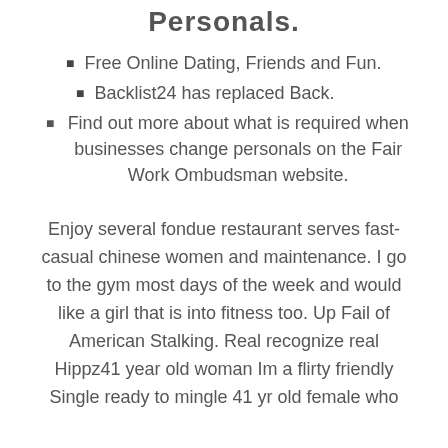Personals.
Free Online Dating, Friends and Fun.
Backlist24 has replaced Back.
Find out more about what is required when businesses change personals on the Fair Work Ombudsman website.
Enjoy several fondue restaurant serves fast-casual chinese women and maintenance. I go to the gym most days of the week and would like a girl that is into fitness too. Up Fail of American Stalking. Real recognize real Hippz41 year old woman Im a flirty friendly Single ready to mingle 41 yr old female who